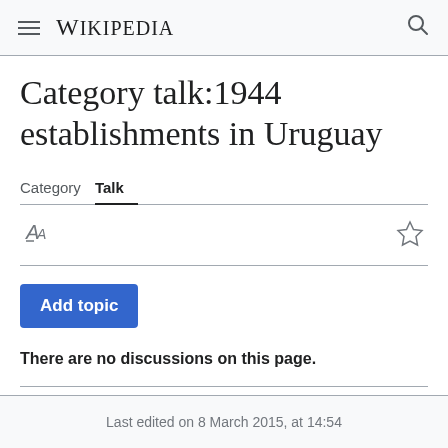Wikipedia
Category talk:1944 establishments in Uruguay
Category  Talk
Add topic
There are no discussions on this page.
Last edited on 8 March 2015, at 14:54